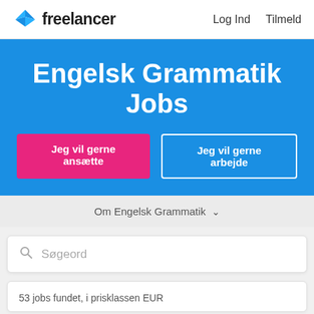[Figure (logo): Freelancer.com logo with blue geometric bird/arrow icon and bold text 'freelancer']
Log Ind   Tilmeld
Engelsk Grammatik Jobs
Jeg vil gerne ansætte
Jeg vil gerne arbejde
Om Engelsk Grammatik ∨
Søgeord
53 jobs fundet, i prisklassen EUR